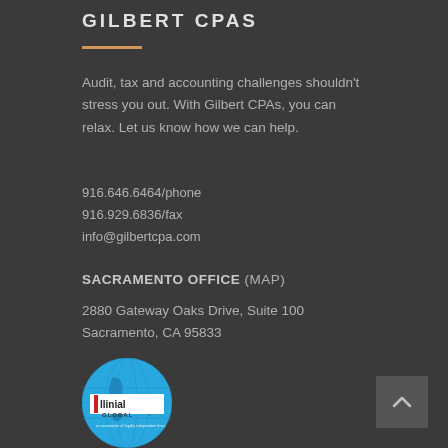GILBERT CPAS
Audit, tax and accounting challenges shouldn't stress you out. With Gilbert CPAs, you can relax. Let us know how we can help.
916.646.6464/phone
916.929.6836/fax
info@gilbertcpa.com
SACRAMENTO OFFICE (MAP)
2880 Gateway Oaks Drive, Suite 100
Sacramento, CA 95833
[Figure (logo): Allinial Global circular blue logo]